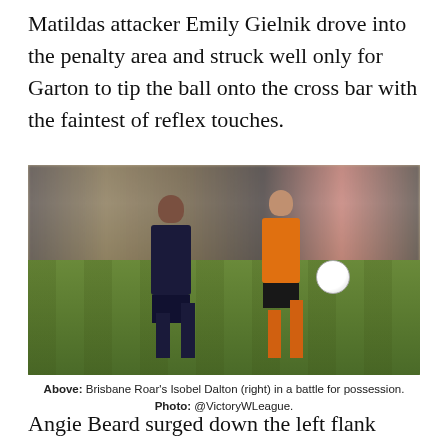Matildas attacker Emily Gielnik drove into the penalty area and struck well only for Garton to tip the ball onto the cross bar with the faintest of reflex touches.
[Figure (photo): Two female soccer players competing for the ball on a grass field. The left player wears a dark navy Melbourne Victory kit; the right player wears an orange Brisbane Roar kit with number 23. A soccer ball is visible to the right. Spectators are blurred in the background.]
Above: Brisbane Roar's Isobel Dalton (right) in a battle for possession. Photo: @VictoryWLeague.
Angie Beard surged down the left flank after incepting a Roar attack, and found ...